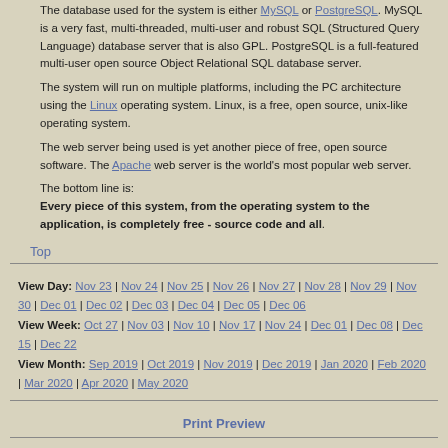The database used for the system is either MySQL or PostgreSQL. MySQL is a very fast, multi-threaded, multi-user and robust SQL (Structured Query Language) database server that is also GPL. PostgreSQL is a full-featured multi-user open source Object Relational SQL database server.
The system will run on multiple platforms, including the PC architecture using the Linux operating system. Linux, is a free, open source, unix-like operating system.
The web server being used is yet another piece of free, open source software. The Apache web server is the world's most popular web server.
The bottom line is: Every piece of this system, from the operating system to the application, is completely free - source code and all.
Top
View Day: Nov 23 | Nov 24 | Nov 25 | Nov 26 | Nov 27 | Nov 28 | Nov 29 | Nov 30 | Dec 01 | Dec 02 | Dec 03 | Dec 04 | Dec 05 | Dec 06 View Week: Oct 27 | Nov 03 | Nov 10 | Nov 17 | Nov 24 | Dec 01 | Dec 08 | Dec 15 | Dec 22 View Month: Sep 2019 | Oct 2019 | Nov 2019 | Dec 2019 | Jan 2020 | Feb 2020 | Mar 2020 | Apr 2020 | May 2020
Print Preview